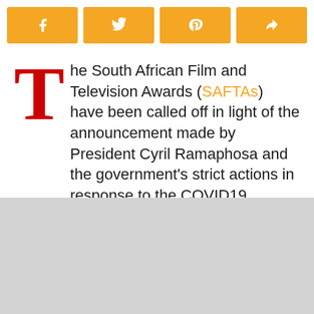[Figure (other): Social share buttons row: Facebook, Twitter, Pinterest, Share — all in orange/amber color]
The South African Film and Television Awards (SAFTAs) have been called off in light of the announcement made by President Cyril Ramaphosa and the government's strict actions in response to the COVID19 (Coronavirus) outbreak...